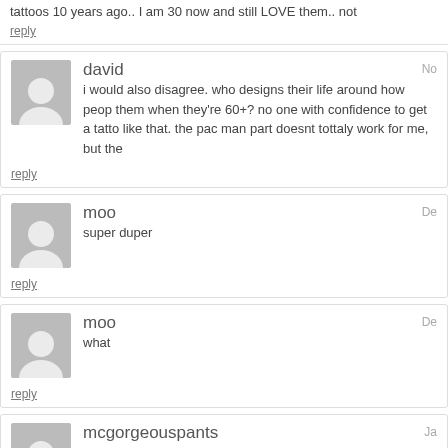tattoos 10 years ago.. I am 30 now and still LOVE them.. not
reply
david
i would also disagree. who designs their life around how people see them when they're 60+? no one with confidence to get a tattoo like that. the pac man part doesnt tottaly work for me, but the
reply
moo
super duper
reply
moo
what
reply
mcgorgeouspants
I know her!
reply
KnightZero